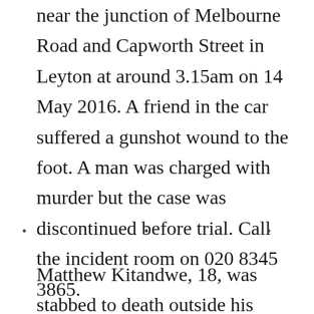near the junction of Melbourne Road and Capworth Street in Leyton at around 3.15am on 14 May 2016. A friend in the car suffered a gunshot wound to the foot. A man was charged with murder but the case was discontinued before trial. Call the incident room on 020 8345 3865.
• • •
Matthew Kitandwe, 18, was stabbed to death outside his home in Wayford Street, Battersea